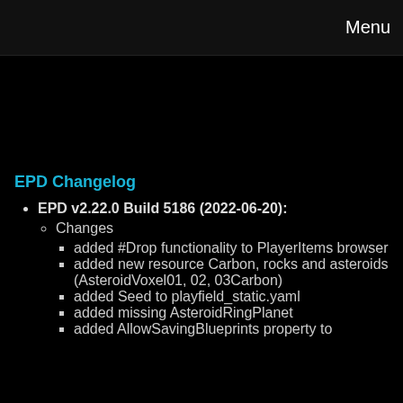Menu
EPD Changelog
EPD v2.22.0 Build 5186 (2022-06-20):
Changes
added #Drop functionality to PlayerItems browser
added new resource Carbon, rocks and asteroids (AsteroidVoxel01, 02, 03Carbon)
added Seed to playfield_static.yaml
added missing AsteroidRingPlanet
added AllowSavingBlueprints property to